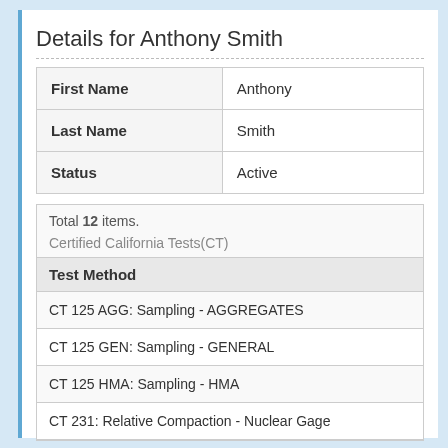Details for Anthony Smith
| First Name | Anthony |
| --- | --- |
| Last Name | Smith |
| Status | Active |
Total 12 items.
Certified California Tests(CT)
| Test Method |
| --- |
| CT 125 AGG: Sampling - AGGREGATES |
| CT 125 GEN: Sampling - GENERAL |
| CT 125 HMA: Sampling - HMA |
| CT 231: Relative Compaction - Nuclear Gage |